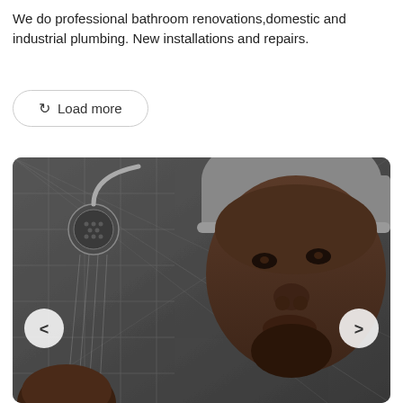We do professional bathroom renovations,domestic and industrial plumbing. New installations and repairs.
[Figure (other): A photo showing a man wearing a grey cap taking a selfie inside a bathroom with dark grey tiled walls and a rainfall shower head visible in the background. Navigation arrows (< and >) are overlaid on left and right sides of the image.]